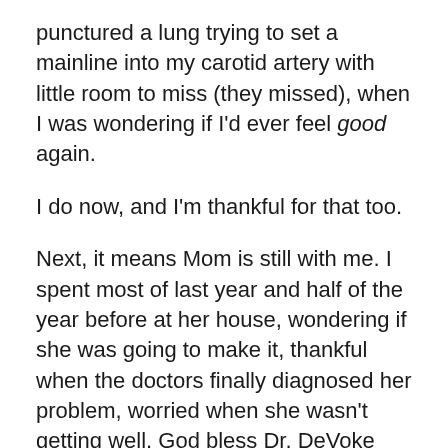punctured a lung trying to set a mainline into my carotid artery with little room to miss (they missed), when I was wondering if I'd ever feel good again.
I do now, and I'm thankful for that too.
Next, it means Mom is still with me. I spent most of last year and half of the year before at her house, wondering if she was going to make it, thankful when the doctors finally diagnosed her problem, worried when she wasn't getting well. God bless Dr. DeVoke and her diagnostic skills, and all the doctors who God sent to make Mom well again.
But what does that have to do with my weight? Like I said before, Mom doesn't cook. So we eat out. A lot. For an example of a visit with her, read "Trippin' with Mom" from March of this year. I think I gained fifteen pounds just that one day.